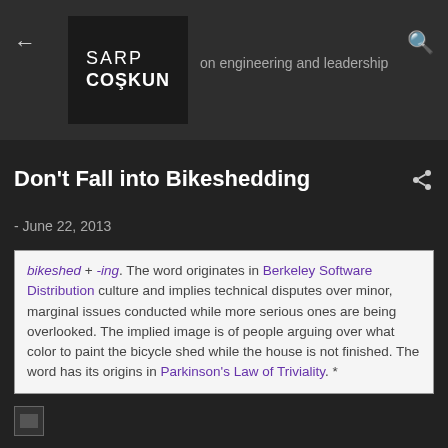SARP COŞKUN on engineering and leadership
Don't Fall into Bikeshedding
- June 22, 2013
bikeshed + -ing. The word originates in Berkeley Software Distribution culture and implies technical disputes over minor, marginal issues conducted while more serious ones are being overlooked. The implied image is of people arguing over what color to paint the bicycle shed while the house is not finished. The word has its origins in Parkinson's Law of Triviality. *
[Figure (photo): Broken image placeholder at bottom of page]